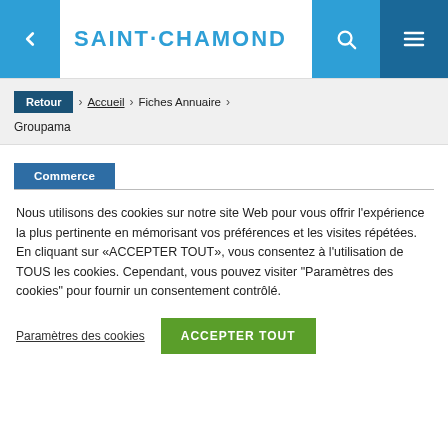SAINT·CHAMOND
Retour > Accueil > Fiches Annuaire > Groupama
Commerce
Nous utilisons des cookies sur notre site Web pour vous offrir l'expérience la plus pertinente en mémorisant vos préférences et les visites répétées. En cliquant sur «ACCEPTER TOUT», vous consentez à l'utilisation de TOUS les cookies. Cependant, vous pouvez visiter "Paramètres des cookies" pour fournir un consentement contrôlé.
Paramètres des cookies | ACCEPTER TOUT